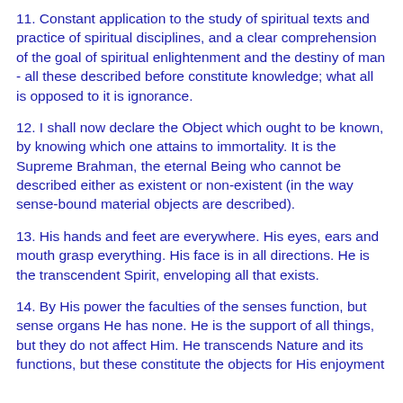11. Constant application to the study of spiritual texts and practice of spiritual disciplines, and a clear comprehension of the goal of spiritual enlightenment and the destiny of man - all these described before constitute knowledge; what all is opposed to it is ignorance.
12. I shall now declare the Object which ought to be known, by knowing which one attains to immortality. It is the Supreme Brahman, the eternal Being who cannot be described either as existent or non-existent (in the way sense-bound material objects are described).
13. His hands and feet are everywhere. His eyes, ears and mouth grasp everything. His face is in all directions. He is the transcendent Spirit, enveloping all that exists.
14. By His power the faculties of the senses function, but sense organs He has none. He is the support of all things, but they do not affect Him. He transcends Nature and its functions, but these constitute the objects for His enjoyment